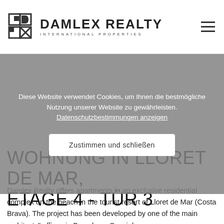DAMLEX REALTY INTERNATIONAL PROPERTIES
Diese Website verwendet Cookies, um Ihnen die bestmögliche Nutzung unserer Website zu gewährleisten. Datenschutzbestimmungen anzeigen
Zustimmen und schließen
WOHNUNG IN LLORET DE MAR, ETAGE 4 - TÜR 3
Damlex Realty offers apartments in an exclusive residential complex on the beach in the tourist resort of Lloret de Mar (Costa Brava). The project has been developed by one of the main architects" offices in Barcelona. Special ...